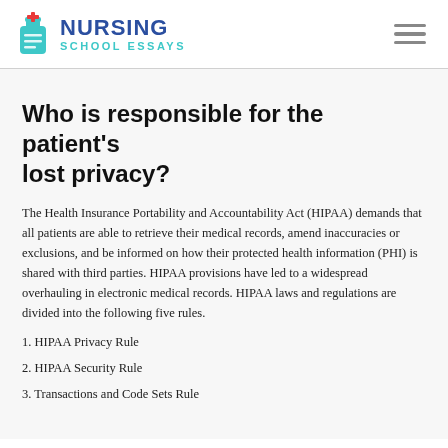[Figure (logo): Nursing School Essays logo with teal bottle icon, bold blue 'NURSING' text and teal 'SCHOOL ESSAYS' subtitle]
Who is responsible for the patient's lost privacy?
The Health Insurance Portability and Accountability Act (HIPAA) demands that all patients are able to retrieve their medical records, amend inaccuracies or exclusions, and be informed on how their protected health information (PHI) is shared with third parties. HIPAA provisions have led to a widespread overhauling in electronic medical records. HIPAA laws and regulations are divided into the following five rules.
1. HIPAA Privacy Rule
2. HIPAA Security Rule
3. Transactions and Code Sets Rule